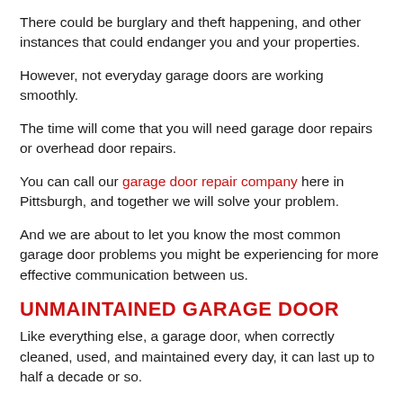There could be burglary and theft happening, and other instances that could endanger you and your properties.
However, not everyday garage doors are working smoothly.
The time will come that you will need garage door repairs or overhead door repairs.
You can call our garage door repair company here in Pittsburgh, and together we will solve your problem.
And we are about to let you know the most common garage door problems you might be experiencing for more effective communication between us.
UNMAINTAINED GARAGE DOOR
Like everything else, a garage door, when correctly cleaned, used, and maintained every day, it can last up to half a decade or so.